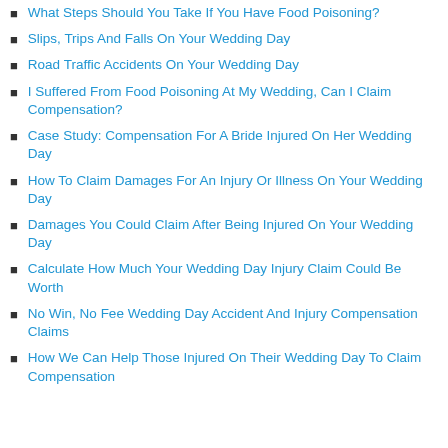What Steps Should You Take If You Have Food Poisoning?
Slips, Trips And Falls On Your Wedding Day
Road Traffic Accidents On Your Wedding Day
I Suffered From Food Poisoning At My Wedding, Can I Claim Compensation?
Case Study: Compensation For A Bride Injured On Her Wedding Day
How To Claim Damages For An Injury Or Illness On Your Wedding Day
Damages You Could Claim After Being Injured On Your Wedding Day
Calculate How Much Your Wedding Day Injury Claim Could Be Worth
No Win, No Fee Wedding Day Accident And Injury Compensation Claims
How We Can Help Those Injured On Their Wedding Day To Claim Compensation